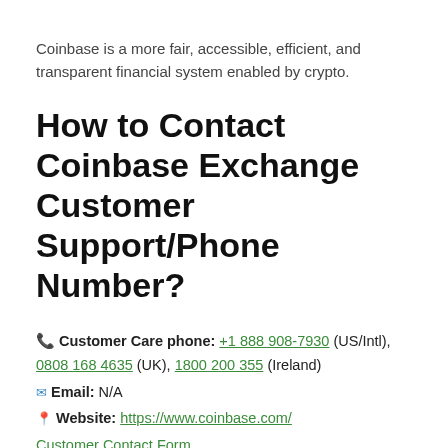Coinbase is a more fair, accessible, efficient, and transparent financial system enabled by crypto.
How to Contact Coinbase Exchange Customer Support/Phone Number?
📞 Customer Care phone: +1 888 908-7930 (US/Intl), 0808 168 4635 (UK), 1800 200 355 (Ireland)
✉ Email: N/A
📍 Website: https://www.coinbase.com/
Customer Contact Form
Coinbase Twitter Contact